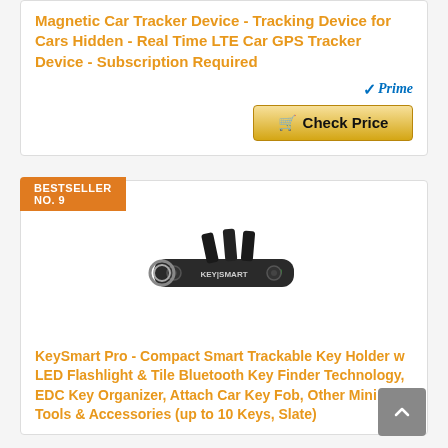Magnetic Car Tracker Device - Tracking Device for Cars Hidden - Real Time LTE Car GPS Tracker Device - Subscription Required
[Figure (other): Amazon Prime badge with blue checkmark and 'Prime' text]
[Figure (other): Gold 'Check Price' button with shopping cart icon]
BESTSELLER NO. 9
[Figure (photo): KeySmart Pro compact key organizer product photo in slate/dark color with KEY|SMART branding]
KeySmart Pro - Compact Smart Trackable Key Holder w LED Flashlight & Tile Bluetooth Key Finder Technology, EDC Key Organizer, Attach Car Key Fob, Other Mini Tools & Accessories (up to 10 Keys, Slate)